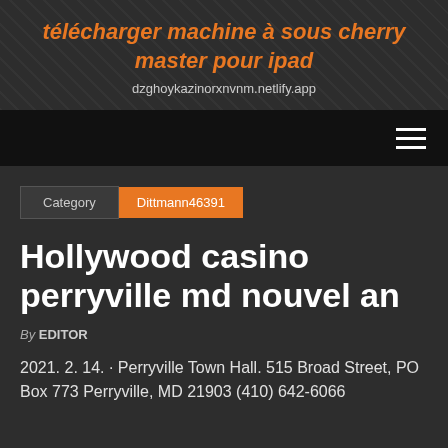télécharger machine à sous cherry master pour ipad
dzghoykazinorxnvnm.netlify.app
Category  Dittmann46391
Hollywood casino perryville md nouvel an
By EDITOR
2021. 2. 14. · Perryville Town Hall. 515 Broad Street, PO Box 773 Perryville, MD 21903 (410) 642-6066